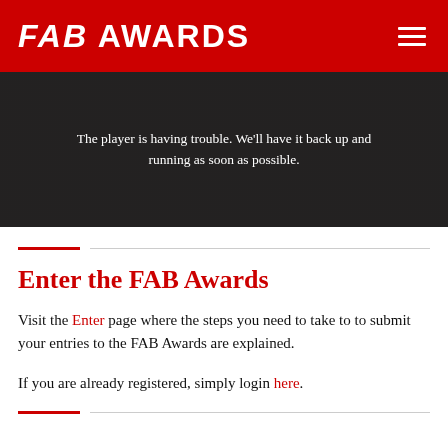FAB AWARDS
[Figure (screenshot): Video player error screen with dark background showing the message: The player is having trouble. We'll have it back up and running as soon as possible.]
The player is having trouble. We'll have it back up and running as soon as possible.
Enter the FAB Awards
Visit the Enter page where the steps you need to take to to submit your entries to the FAB Awards are explained.
If you are already registered, simply login here.